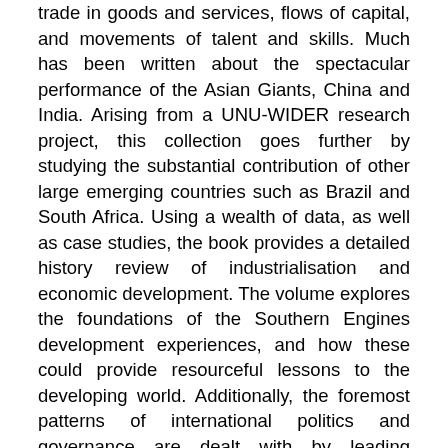trade in goods and services, flows of capital, and movements of talent and skills. Much has been written about the spectacular performance of the Asian Giants, China and India. Arising from a UNU-WIDER research project, this collection goes further by studying the substantial contribution of other large emerging countries such as Brazil and South Africa. Using a wealth of data, as well as case studies, the book provides a detailed history review of industrialisation and economic development. The volume explores the foundations of the Southern Engines development experiences, and how these could provide resourceful lessons to the developing world. Additionally, the foremost patterns of international politics and governance are dealt with by leading scholars, who critically assess how the Southern